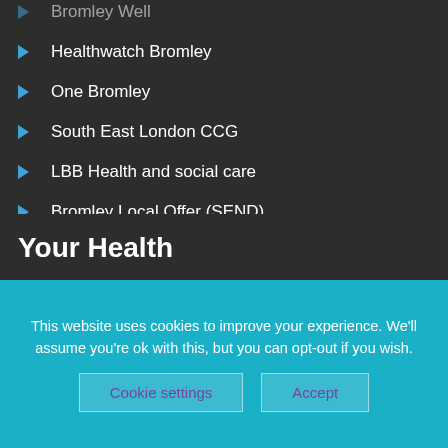Bromley Well
Healthwatch Bromley
One Bromley
South East London CCG
LBB Health and social care
Bromley Local Offer (SEND)
Care Opinion
Your Health
This website uses cookies to improve your experience. We'll assume you're ok with this, but you can opt-out if you wish.
Cookie settings  Accept